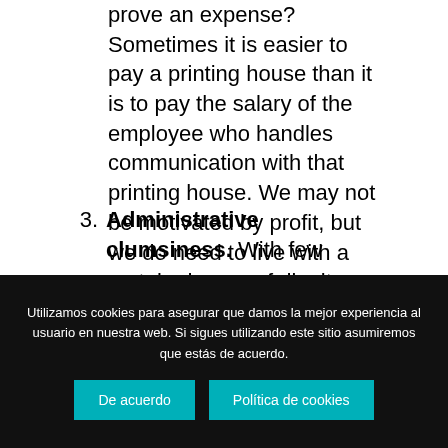prove an expense? Sometimes it is easier to pay a printing house than it is to pay the salary of the employee who handles communication with that printing house. We may not be motivated by profit, but we do need to live with a certain degree of dignity.
3. Administrative clumsiness. With few
Utilizamos cookies para asegurar que damos la mejor experiencia al usuario en nuestra web. Si sigues utilizando este sitio asumiremos que estás de acuerdo.
De acuerdo   Política de cookies